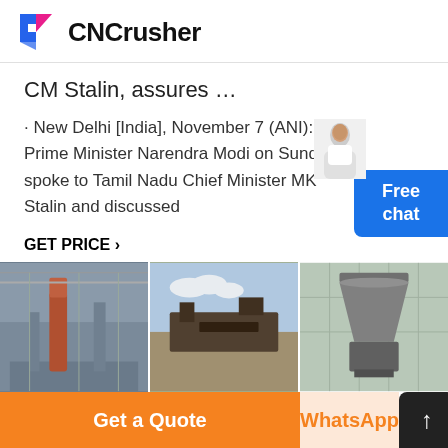[Figure (logo): CNCrusher logo with stylized F icon in blue and pink/magenta]
CM Stalin, assures …
· New Delhi [India], November 7 (ANI): Prime Minister Narendra Modi on Sunday spoke to Tamil Nadu Chief Minister MK Stalin and discussed
GET PRICE ›
[Figure (photo): Free chat widget with female avatar]
[Figure (photo): Three industrial crusher/mining machinery photos side by side]
Get a Quote
WhatsApp